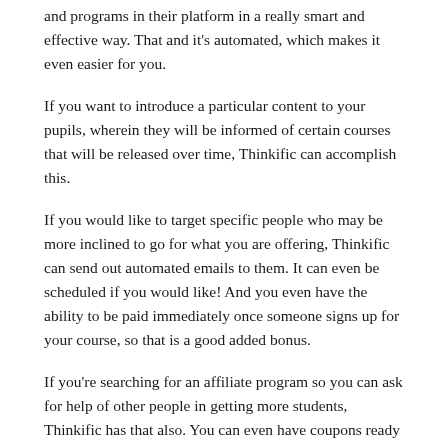and programs in their platform in a really smart and effective way. That and it's automated, which makes it even easier for you.
If you want to introduce a particular content to your pupils, wherein they will be informed of certain courses that will be released over time, Thinkific can accomplish this.
If you would like to target specific people who may be more inclined to go for what you are offering, Thinkific can send out automated emails to them. It can even be scheduled if you would like! And you even have the ability to be paid immediately once someone signs up for your course, so that is a good added bonus.
If you're searching for an affiliate program so you can ask for help of other people in getting more students, Thinkific has that also. You can even have coupons ready so that you can easily lure prospective new students with wonderful deals.
If you want to be able to monitor where these students are coming